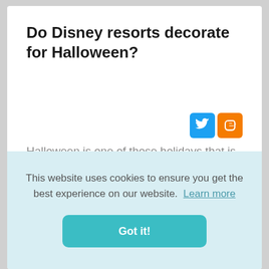Do Disney resorts decorate for Halloween?
[Figure (logo): Twitter and Blogger social share icons]
Halloween is one of those holidays that is so much fun to decorate for. Disney does decorate for this time of year but really mostly only in the parks. The resorts
This website uses cookies to ensure you get the best experience on our website. Learn more
Got it!